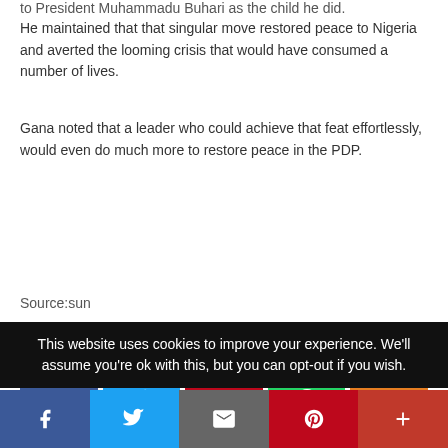to President Muhammadu Buhari as the child he did.
He maintained that that singular move restored peace to Nigeria and averted the looming crisis that would have consumed a number of lives.
Gana noted that a leader who could achieve that feat effortlessly, would even do much more to restore peace in the PDP.
Source:sun
Spread the post
[Figure (infographic): Social sharing buttons: Facebook, Twitter, Pinterest, WhatsApp, Share]
TAGS   Puo News
This website uses cookies to improve your experience. We'll assume you're ok with this, but you can opt-out if you wish.
[Figure (infographic): Bottom share bar: Facebook, Twitter, Email, Pinterest, More]